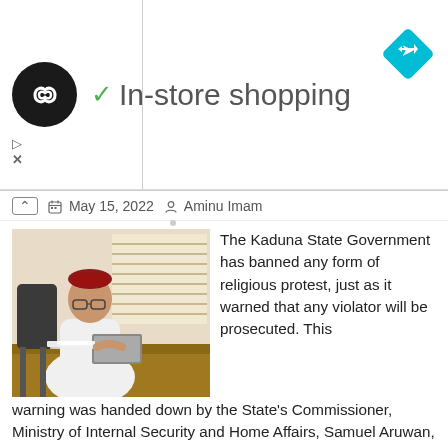[Figure (logo): Ad banner with logo circle containing infinity-like symbol, checkmark and 'In-store shopping' text, blue diamond arrow icon on right]
May 15, 2022   Aminu Imam
[Figure (photo): A man in white traditional Nigerian attire and maroon cap sitting at a desk with a laptop and papers, in an office setting]
The Kaduna State Government has banned any form of religious protest, just as it warned that any violator will be prosecuted. This warning was handed down by the State's Commissioner, Ministry of Internal Security and Home Affairs, Samuel Aruwan, in an issued statement yesterday. According to him, the prohibition becomes imperative in view of moves by some unpatriotic elements to organize a series of for-and-against protests related to a security development in one of the